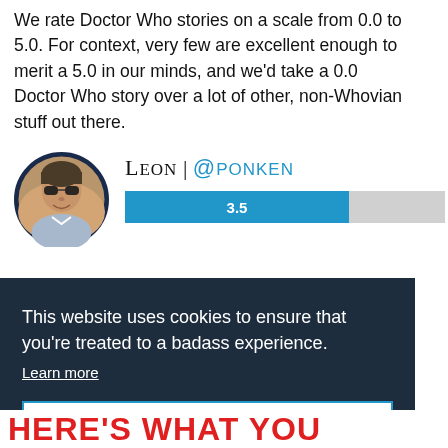We rate Doctor Who stories on a scale from 0.0 to 5.0. For context, very few are excellent enough to merit a 5.0 in our minds, and we'd take a 0.0 Doctor Who story over a lot of other, non-Whovian stuff out there.
Leon | @PONKEN
[Figure (bar-chart): Rating bar]
This website uses cookies to ensure that you're treated to a badass experience. Learn more
Coolio!
HERE'S WHAT YOU